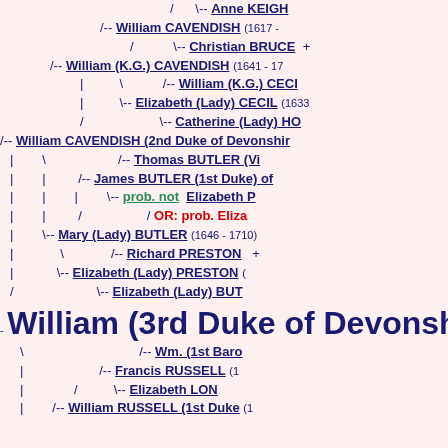[Figure (organizational-chart): Genealogical family tree showing ancestors of William (3rd Duke of Devonshire), including Cavendish, Bruce, Cecil, Butler, Preston, Russell lines with connecting lines and date annotations.]